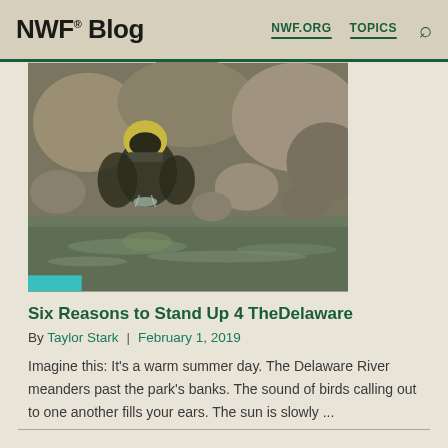NWF® Blog  NWF.ORG  TOPICS
[Figure (photo): Close-up photo of a bird drinking water from a rocky stream or puddle, with water droplets visible. The bird appears to have yellow and dark coloring. Rocky background.]
Six Reasons to Stand Up 4 TheDelaware
By Taylor Stark  |  February 1, 2019
Imagine this: It's a warm summer day. The Delaware River meanders past the park's banks. The sound of birds calling out to one another fills your ears. The sun is slowly ...